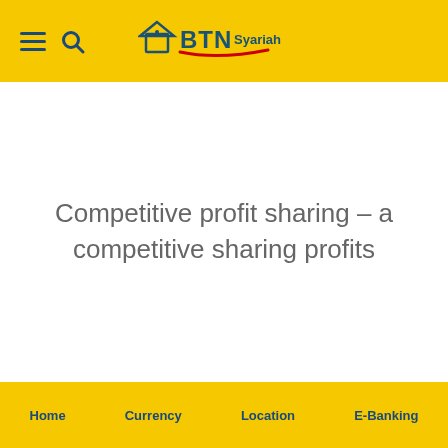BTN Syariah - navigation header with logo, hamburger menu, and search icon
Competitive profit sharing – a competitive sharing profits
Home | Currency | Location | E-Banking